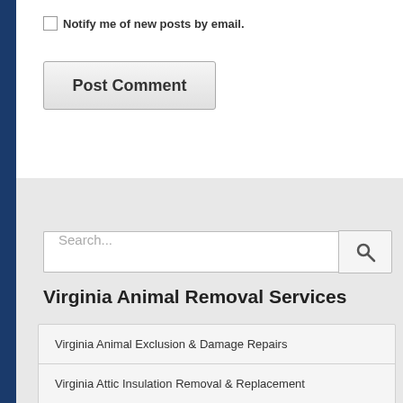Notify me of new posts by email.
Post Comment
Search...
Virginia Animal Removal Services
Virginia Animal Exclusion & Damage Repairs
Virginia Attic Insulation Removal & Replacement
Virginia Dead Animal Removal & Disposal
Virginia Wildlife Trapping & Control
Virginia Wildlife Removal Info